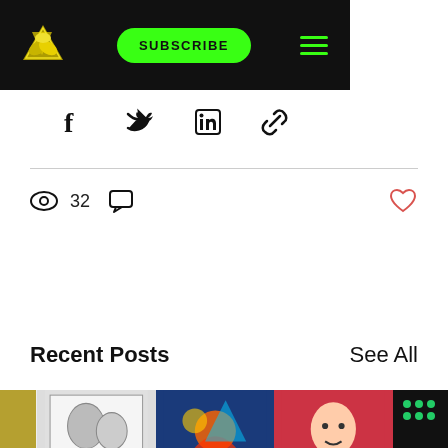SUBSCRIBE
[Figure (screenshot): Social share icons: Facebook, Twitter, LinkedIn, link copy]
32 views, 0 comments, heart/like icon
Recent Posts
See All
[Figure (photo): Collage of Cinemalaya film posters including Bula sa Langit, Eleonor, and Black Rainbow]
Cinemalaya is back in theaters with ov...